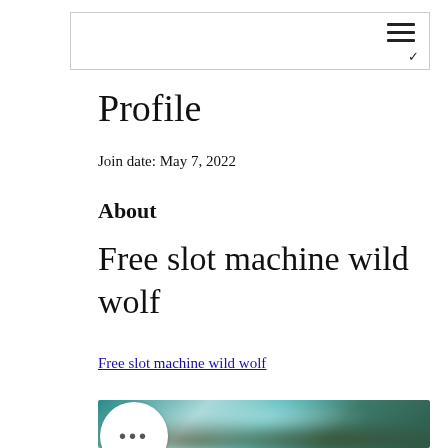Profile
Join date: May 7, 2022
About
Free slot machine wild wolf
Free slot machine wild wolf
[Figure (photo): Blurred image of people against a teal/green background with a white circular button showing three dots (…) in the lower left]